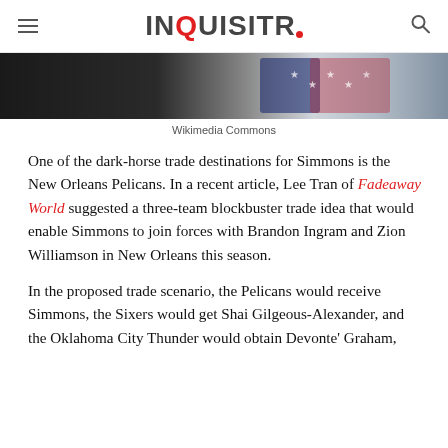INQUISITR
[Figure (photo): Cropped photo showing a person wearing a sports jersey with stars and stripes pattern, dark background]
Wikimedia Commons
One of the dark-horse trade destinations for Simmons is the New Orleans Pelicans. In a recent article, Lee Tran of Fadeaway World suggested a three-team blockbuster trade idea that would enable Simmons to join forces with Brandon Ingram and Zion Williamson in New Orleans this season.
In the proposed trade scenario, the Pelicans would receive Simmons, the Sixers would get Shai Gilgeous-Alexander, and the Oklahoma City Thunder would obtain Devonte' Graham,